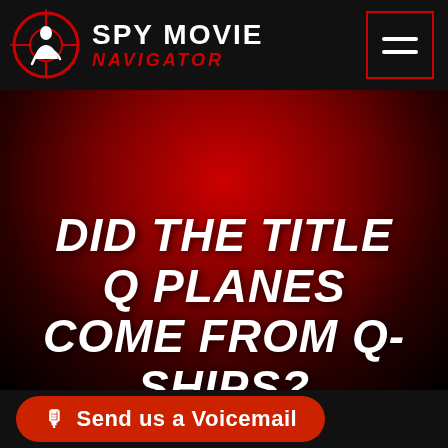SPY MOVIE NAVIGATOR
DID THE TITLE Q PLANES COME FROM Q-SHIPS?
Send us a Voicemail